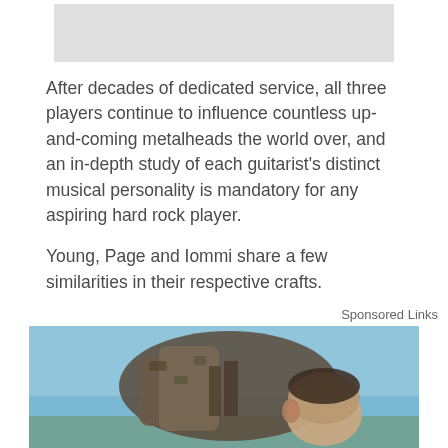[Figure (photo): Gray placeholder image at top of page]
After decades of dedicated service, all three players continue to influence countless up-and-coming metalheads the world over, and an in-depth study of each guitarist's distinct musical personality is mandatory for any aspiring hard rock player.
Young, Page and Iommi share a few similarities in their respective crafts.
Sponsored Links
[Figure (photo): A soldier with a large backpack bending forward against a blue sky background]
[Figure (screenshot): BitLife advertisement banner - NOW WITH GOD MODE, with logo, thumbs up icon, and hand pointing icon with question mark and X buttons]